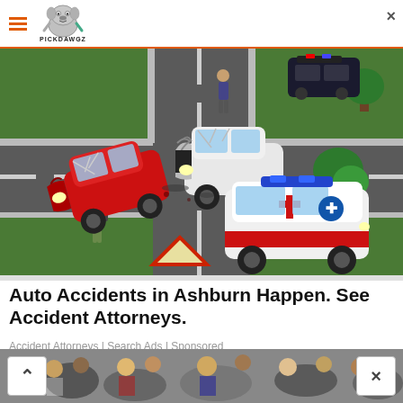PICKDAWGZ
[Figure (illustration): Cartoon-style illustration of a car accident scene at an intersection. A red car and a white car have crashed, with crumpled hoods. An ambulance with blue lights and red stripe is nearby. A cartoon person stands in the road. A yield sign is visible. Police car in background. Green trees on the side.]
Auto Accidents in Ashburn Happen. See Accident Attorneys.
Accident Attorneys | Search Ads | Sponsored
[Figure (photo): Partial photo of a crowd scene at bottom of page, partially cropped]